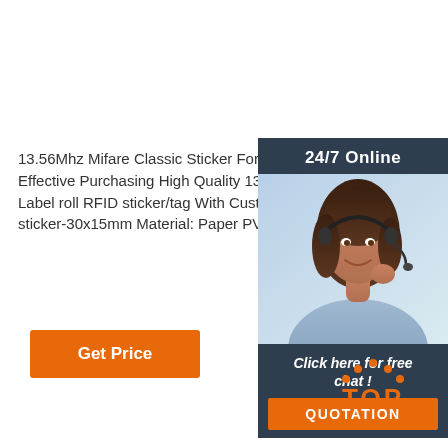13.56Mhz Mifare Classic Sticker For Warehouse Ma... Effective Purchasing High Quality 13.56MHz Mifare Label roll RFID sticker/tag With Customized Printing sticker-30x15mm Material: Paper PVC PET
Get Price
[Figure (infographic): Customer service sidebar with '24/7 Online' header, photo of smiling woman with headset, 'Click here for free chat!' text, and orange QUOTATION button on dark navy background]
[Figure (logo): TOP logo with orange dots arc above the word TOP in orange text]